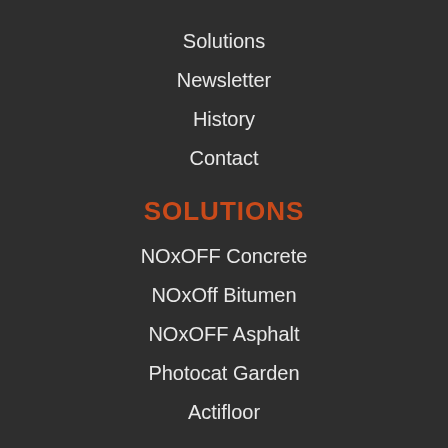Solutions
Newsletter
History
Contact
SOLUTIONS
NOxOFF Concrete
NOxOff Bitumen
NOxOFF Asphalt
Photocat Garden
Actifloor